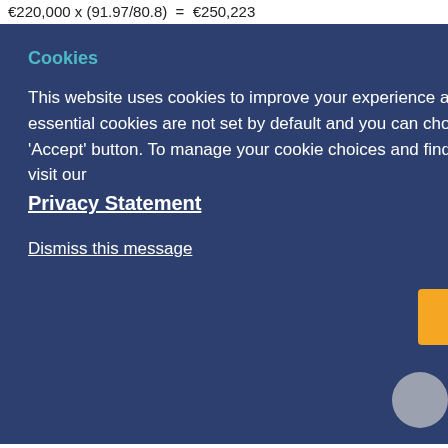d on ses elling or kes no
within s are action ilable elay early ving onth atest
Cookies
This website uses cookies to improve your experience and to monitor the site traffic. Non-essential cookies are not set by default and you can choose to accept them by clicking on the 'Accept' button. To manage your cookie choices and find out more about how we use cookies visit our
Privacy Statement
Dismiss this message
Accept